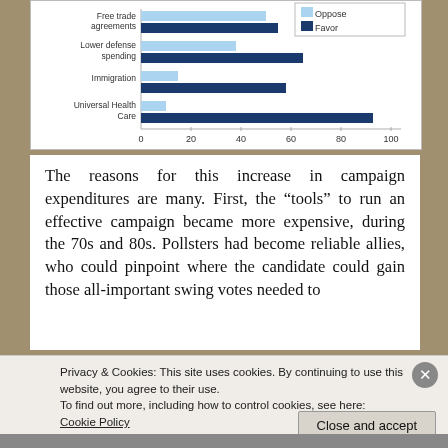[Figure (grouped-bar-chart): Policy Opinions: Oppose vs Favor]
The reasons for this increase in campaign expenditures are many. First, the “tools” to run an effective campaign became more expensive, during the 70s and 80s. Pollsters had become reliable allies, who could pinpoint where the candidate could gain those all-important swing votes needed to win an election. Fund-raisers, pollsters, and...
Privacy & Cookies: This site uses cookies. By continuing to use this website, you agree to their use.
To find out more, including how to control cookies, see here: Cookie Policy